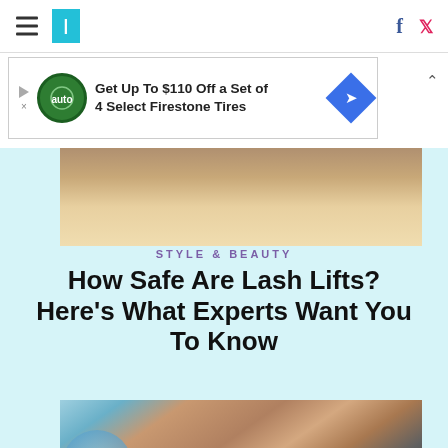HuffPost navigation with hamburger menu, logo, Facebook and Twitter icons
[Figure (screenshot): Advertisement banner: Get Up To $110 Off a Set of 4 Select Firestone Tires with Firestone auto logo and blue direction sign icon]
[Figure (photo): Top portion of a photo showing a person's face/hair (partially visible)]
STYLE & BEAUTY
How Safe Are Lash Lifts? Here's What Experts Want You To Know
[Figure (photo): Photo of hands typing on a laptop keyboard while holding a credit card, with a globe visible in background]